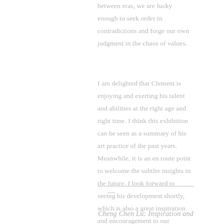between eras, we are lucky enough to seek order in contradictions and forge our own judgment in the chaos of values.
I am delighted that Clement is enjoying and exerting his talent and abilities at the right age and right time. I think this exhibition can be seen as a summary of his art practice of the past years. Meanwhile, it is an en route point to welcome the subtler insights in the future. I look forward to seeing his development shortly, which is also a great inspiration and encouragement to our generation.
Cheng Chen Lu: Inspiration and